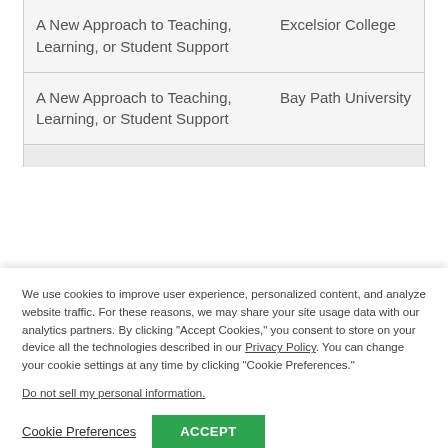| Category | Institution |
| --- | --- |
| A New Approach to Teaching, Learning, or Student Support | Excelsior College |
| A New Approach to Teaching, Learning, or Student Support | Bay Path University |
We use cookies to improve user experience, personalized content, and analyze website traffic. For these reasons, we may share your site usage data with our analytics partners. By clicking "Accept Cookies," you consent to store on your device all the technologies described in our Privacy Policy. You can change your cookie settings at any time by clicking "Cookie Preferences."
Do not sell my personal information.
Cookie Preferences   ACCEPT